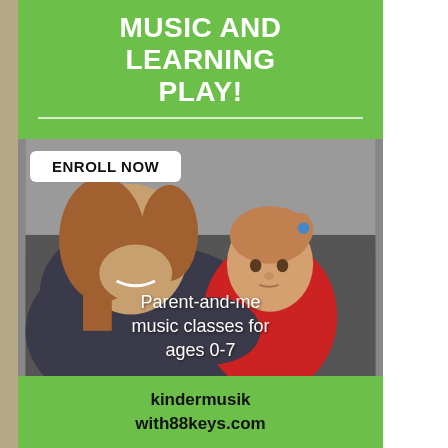MUSIC AND LEARNING PLAY!
[Figure (photo): A smiling mother holding a young toddler girl in a red shirt, parent-and-me music class advertisement photo]
ENROLL NOW
Parent-and-me music classes for ages 0-7
kindermusik with88keys.com